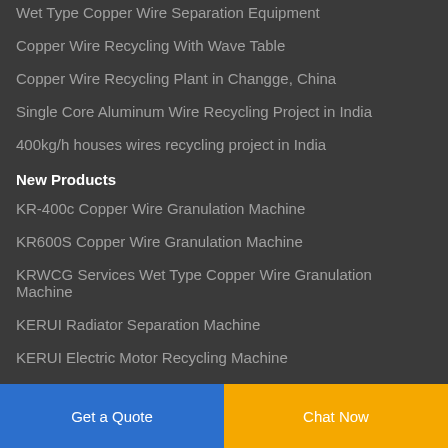Wet Type Copper Wire Separation Equipment
Copper Wire Recycling With Wave Table
Copper Wire Recycling Plant in Changge, China
Single Core Aluminum Wire Recycling Project in India
400kg/h houses wires recycling project in India
New Products
KR-400c Copper Wire Granulation Machine
KR600S Copper Wire Granulation Machine
KRWCG Services Wet Type Copper Wire Granulation Machine
KERUI Radiator Separation Machine
KERUI Electric Motor Recycling Machine
Drum Type Iron Remover
Get a Quote  Chat Now